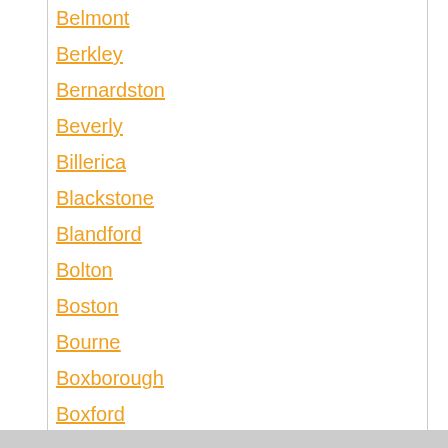Belmont
Berkley
Bernardston
Beverly
Billerica
Blackstone
Blandford
Bolton
Boston
Bourne
Boxborough
Boxford
Boylston
Braintree
Brewster